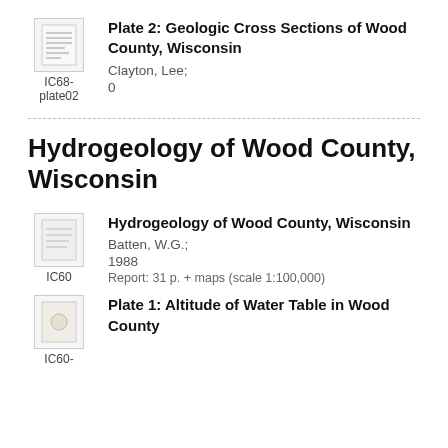[Figure (illustration): Small thumbnail icon of a document with text lines, labeled IC68-plate02]
Plate 2: Geologic Cross Sections of Wood County, Wisconsin
Clayton, Lee;
0
Hydrogeology of Wood County, Wisconsin
[Figure (illustration): Small thumbnail icon of a document, labeled IC60]
Hydrogeology of Wood County, Wisconsin
Batten, W.G.;
1988
Report: 31 p. + maps (scale 1:100,000)
[Figure (illustration): Small thumbnail icon of a document, labeled IC60-]
Plate 1: Altitude of Water Table in Wood County